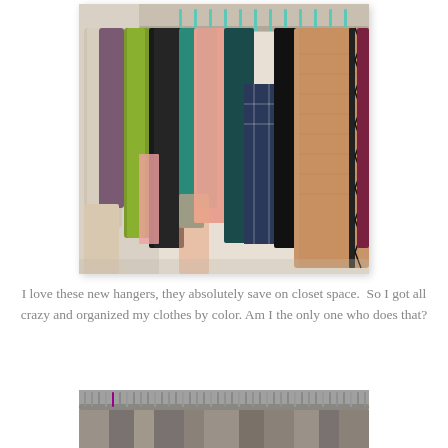[Figure (photo): Photograph of a clothing rack with many garments hanging on hangers, organized by color, in a closet setting. Clothes include various colors: beige scarves, green, black, pink, teal, maroon, and camel-colored items.]
I love these new hangers, they absolutely save on closet space.  So I got all crazy and organized my clothes by color.  Am I the only one who does that?
[Figure (photo): Partial photograph at the bottom of the page showing the top of a clothing rack with many hangers, closely packed together.]